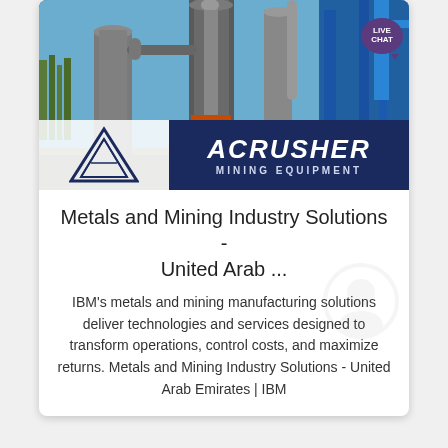[Figure (photo): Industrial mining equipment photo showing large metal cylindrical processing units, pipes, and blue steel structure against a blue sky. An Acrusher Mining Equipment logo is overlaid at the bottom. A 'LIVE CHAT' speech bubble button appears in the top right. The logo shows a white triangle/pyramid symbol on the left and the text 'ACRUSHER MINING EQUIPMENT' in white on a dark navy background on the right.]
Metals and Mining Industry Solutions - United Arab ...
IBM's metals and mining manufacturing solutions deliver technologies and services designed to transform operations, control costs, and maximize returns. Metals and Mining Industry Solutions - United Arab Emirates | IBM